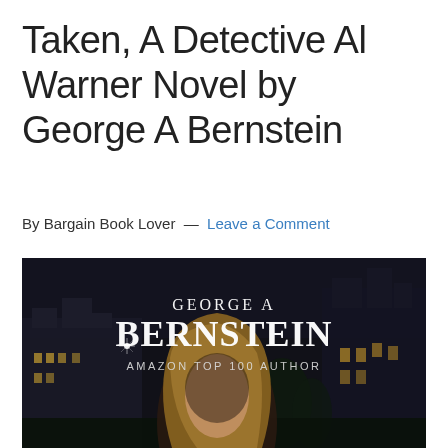Taken, A Detective Al Warner Novel by George A Bernstein
By Bargain Book Lover — Leave a Comment
[Figure (photo): Book cover for 'Taken' showing author name George A Bernstein, Amazon Top 100 Author, with a woman with long blonde hair against a dark background featuring a manor house]